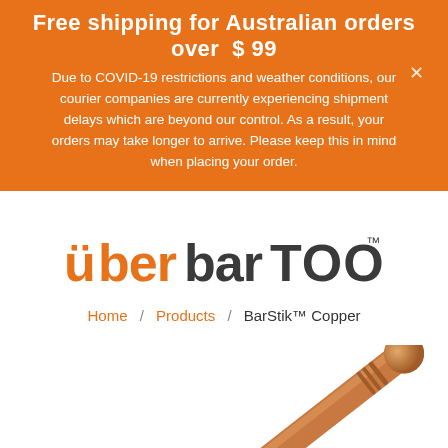Free shipping for Australian orders over $99
Due to COVID-19 restrictions and weather conditions, our courier companies are currently experiencing shipment delays which are beyond our control. As a result, your orders may take longer to arrive. Please keep this in mind when placing your order.
[Figure (logo): Uber Bar Tools logo in orange and dark grey text]
Home / Products / BarStik™ Copper
[Figure (photo): Copper BarStik tool shown diagonally, bottom-right of page]